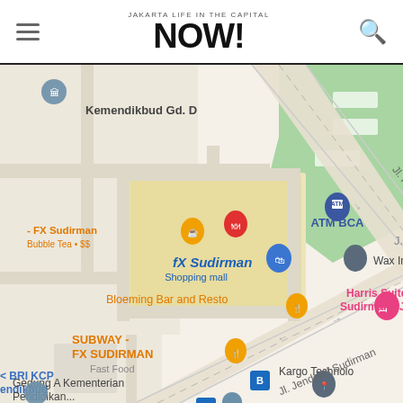JAKARTA NOW! — navigation header with hamburger menu and search icon
[Figure (map): Google Maps screenshot showing the area around fX Sudirman shopping mall in Jakarta, Indonesia. Visible landmarks include: Kemendikbud Gd. D, ATM BCA, fX Sudirman (Shopping mall), Wax Inc, Bloeming Bar and Resto, Harris Suites fX Sudirman - Jakarta, SUBWAY - FX SUDIRMAN (Fast Food), BRI KCP Endikbud, Gedung A Kementerian Pendidikan, Kargo Technology, Menara Sudirman. Streets visible: Jl. Pintu Satu Senayan, Jl. Jenderal Sudirman. A green area (field/park) is visible in the upper right.]